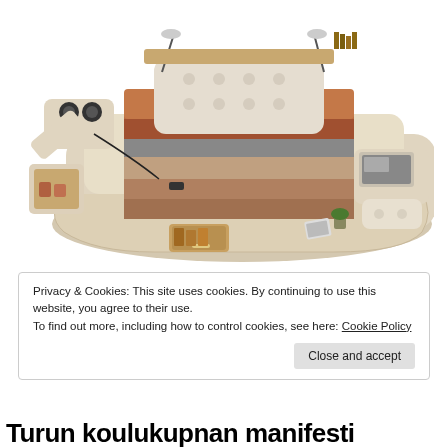[Figure (photo): A modern luxury multi-functional bed with built-in speakers, storage drawers, a massage chair attachment, reading lamps, and a laptop tray. The bed has beige/cream leather upholstery with a wooden-toned headboard shelf area containing bottles and accessories. A reclining lounger and open storage compartments are visible.]
Privacy & Cookies: This site uses cookies. By continuing to use this website, you agree to their use.
To find out more, including how to control cookies, see here: Cookie Policy
Close and accept
Turun koulukupnan manifesti